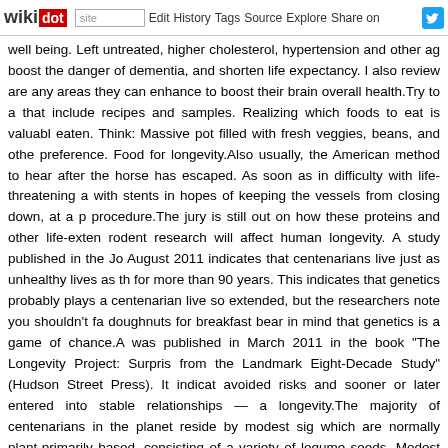wikidot | site Edit History Tags Source Explore Share on [twitter]
well being. Left untreated, higher cholesterol, hypertension and other ag boost the danger of dementia, and shorten life expectancy. I also review are any areas they can enhance to boost their brain overall health.Try to a that include recipes and samples. Realizing which foods to eat is valuabl eaten. Think: Massive pot filled with fresh veggies, beans, and othe preference. Food for longevity.Also usually, the American method to hear after the horse has escaped. As soon as in difficulty with life-threatening a with stents in hopes of keeping the vessels from closing down, at a p procedure.The jury is still out on how these proteins and other life-exten rodent research will affect human longevity. A study published in the Jo August 2011 indicates that centenarians live just as unhealthy lives as th for more than 90 years. This indicates that genetics probably plays a centenarian live so extended, but the researchers note you shouldn't fa doughnuts for breakfast bear in mind that genetics is a game of chance.A was published in March 2011 in the book "The Longevity Project: Surpris from the Landmark Eight-Decade Study" (Hudson Street Press). It indicat avoided risks and sooner or later entered into stable relationships — a longevity.The majority of centenarians in the planet reside by modest sig which are normally plant-primarily based, consisting of a variety of legume seeds. Modest living implies modest consuming. Consuming less in gene 80% complete. Live by the old adage ..." Consume like a king by day a making use of saunas could help you lessen the danger of heart decease and how to get the greatest positive aspects, so I figured I do some analy to make sure I seek the advice of with a skilled in this location and have can get the greatest treatment to boost my lifespan.A habit of consumin overeating is not wholesome no matter what you eat. When you loved thi much more information with regards to please click the following internet r the foods consumed does make a difference. Yogis are renowned fo positive they meditate and practice when their stomachs are empty.